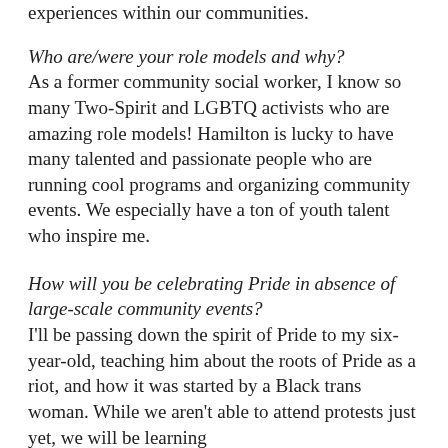experiences within our communities.
Who are/were your role models and why?
As a former community social worker, I know so many Two-Spirit and LGBTQ activists who are amazing role models! Hamilton is lucky to have many talented and passionate people who are running cool programs and organizing community events. We especially have a ton of youth talent who inspire me.
How will you be celebrating Pride in absence of large-scale community events?
I'll be passing down the spirit of Pride to my six-year-old, teaching him about the roots of Pride as a riot, and how it was started by a Black trans woman. While we aren't able to attend protests just yet, we will be learning